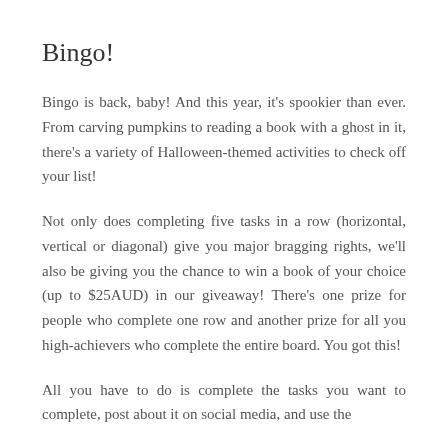Bingo!
Bingo is back, baby! And this year, it's spookier than ever. From carving pumpkins to reading a book with a ghost in it, there's a variety of Halloween-themed activities to check off your list!
Not only does completing five tasks in a row (horizontal, vertical or diagonal) give you major bragging rights, we'll also be giving you the chance to win a book of your choice (up to $25AUD) in our giveaway! There's one prize for people who complete one row and another prize for all you high-achievers who complete the entire board. You got this!
All you have to do is complete the tasks you want to complete, post about it on social media, and use the